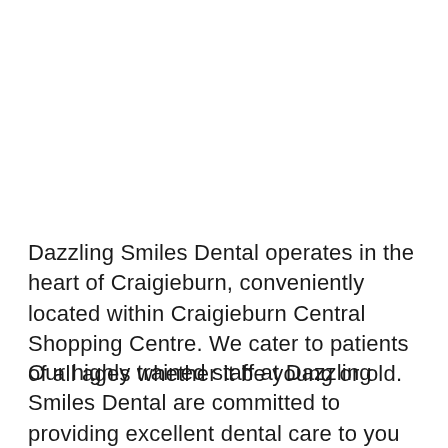Dazzling Smiles Dental operates in the heart of Craigieburn, conveniently located within Craigieburn Central Shopping Centre. We cater to patients of all ages whether it be young or old.
Our highly trained staff at Dazzling Smiles Dental are committed to providing excellent dental care to you and your family.